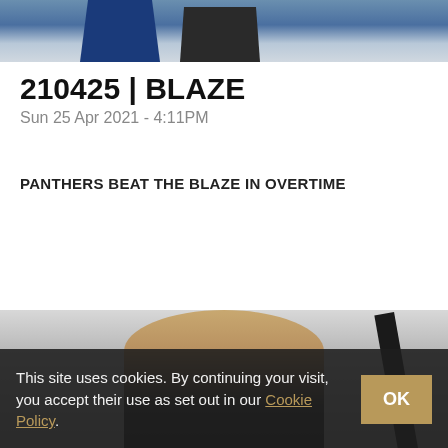[Figure (photo): Hockey players in blue and dark jerseys, cropped at top of page]
210425 | BLAZE
Sun 25 Apr 2021 - 4:11PM
PANTHERS BEAT THE BLAZE IN OVERTIME
READ MORE
[Figure (photo): Man in dark jacket with hockey stick visible, bottom section of page]
This site uses cookies. By continuing your visit, you accept their use as set out in our Cookie Policy.